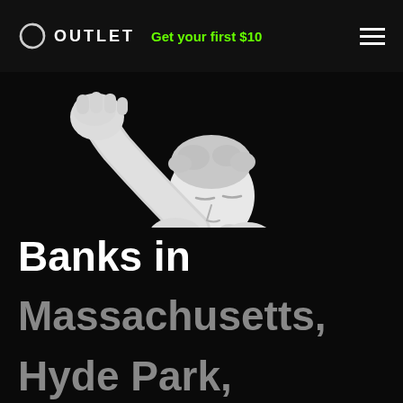OUTLET  Get your first $10
[Figure (photo): White marble classical statue of a male figure with arm raised, holding a fist up, photographed against a black background]
Banks in Massachusetts, Hyde Park,